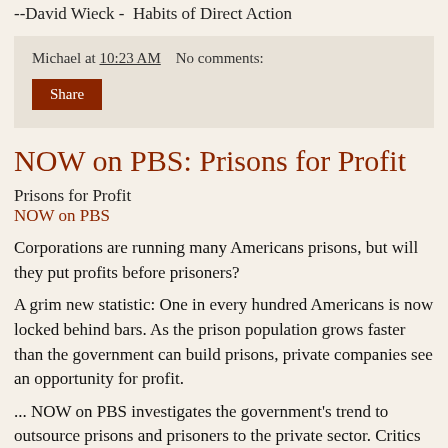--David Wieck - Habits of Direct Action
Michael at 10:23 AM   No comments:
Share
NOW on PBS: Prisons for Profit
Prisons for Profit
NOW on PBS
Corporations are running many Americans prisons, but will they put profits before prisoners?
A grim new statistic: One in every hundred Americans is now locked behind bars. As the prison population grows faster than the government can build prisons, private companies see an opportunity for profit.
... NOW on PBS investigates the government's trend to outsource prisons and prisoners to the private sector. Critics accuse private